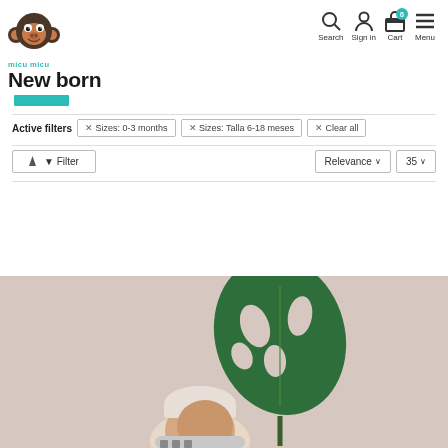[Figure (logo): Micu Micu monkey logo with teal text]
micu micu New born
Search Sign in Cart Menu
Active filters   × Sizes: 0-3 months   × Sizes: Talla 6-18 meses   × Clear all
Filter   Relevance ∨   35 ∨
[Figure (photo): Baby newborn photo with monstera leaf on pink/beige background]